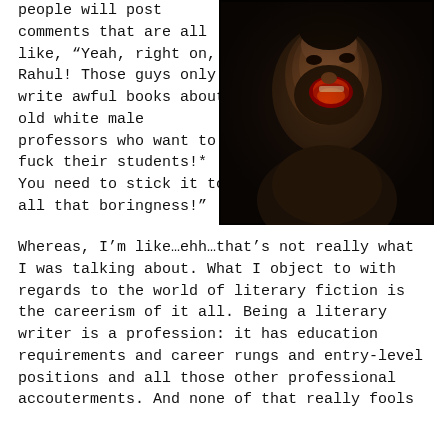people will post comments that are all like, “Yeah, right on, Rahul! Those guys only write awful books about old white male professors who want to fuck their students!* You need to stick it to all that boringness!”
[Figure (photo): A dark painting or photograph of an elderly bearded man with his mouth open wide, reminiscent of a classical oil painting style, with dark brown and ochre tones.]
Whereas, I’m like…ehh…that’s not really what I was talking about. What I object to with regards to the world of literary fiction is the careerism of it all. Being a literary writer is a profession: it has education requirements and career rungs and entry-level positions and all those other professional accouterments. And none of that really fools